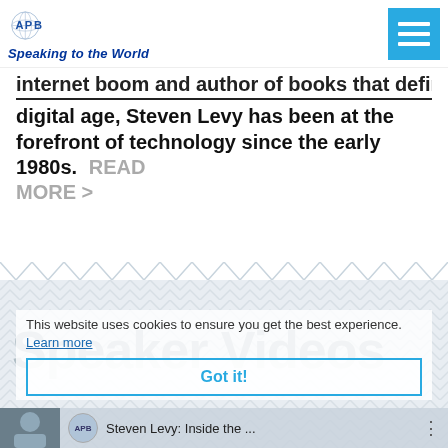APB Speaking to the World
internet boom and author of books that define the digital age, Steven Levy has been at the forefront of technology since the early 1980s. READ MORE >
Speaker Videos
This website uses cookies to ensure you get the best experience. Learn more
Got it!
[Figure (screenshot): Video preview thumbnail with APB logo circle, title 'Steven Levy: Inside the ...' and a menu icon]